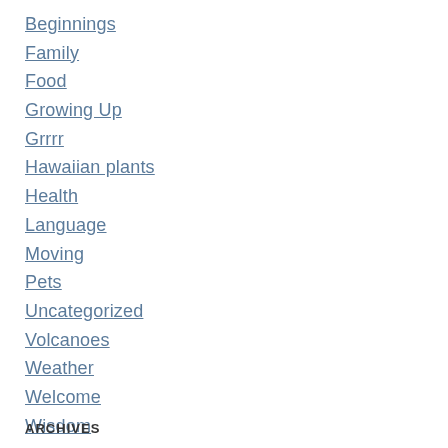Beginnings
Family
Food
Growing Up
Grrrr
Hawaiian plants
Health
Language
Moving
Pets
Uncategorized
Volcanoes
Weather
Welcome
Wisdom
ARCHIVES